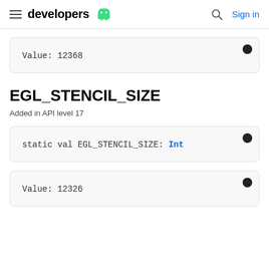developers — Sign in
Value: 12368
EGL_STENCIL_SIZE
Added in API level 17
static val EGL_STENCIL_SIZE: Int
Value: 12326